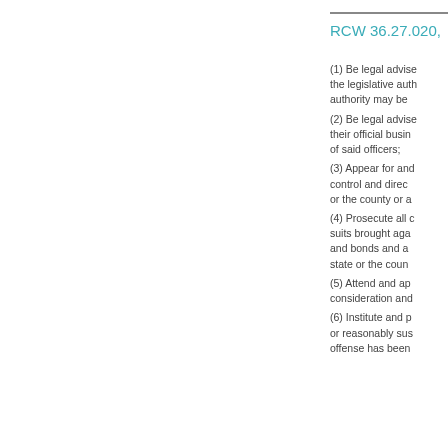RCW 36.27.020,
(1) Be legal adviser to the legislative authority may be (2) Be legal adviser their official business of said officers; (3) Appear for and control and direct or the county or a (4) Prosecute all c suits brought aga and bonds and a state or the coun (5) Attend and ap consideration an (6) Institute and p or reasonably sus offense has been